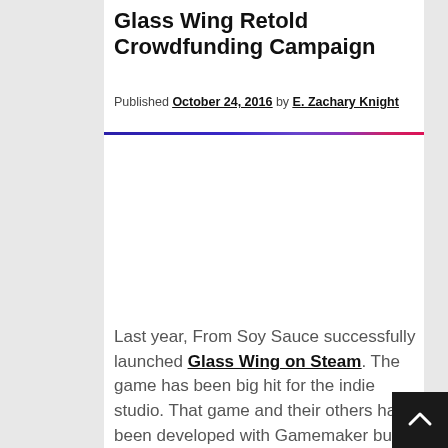Glass Wing Retold Crowdfunding Campaign
Published October 24, 2016 by E. Zachary Knight
[Figure (other): Horizontal decorative divider line with gradient from dark blue/purple to pink/red]
Last year, From Soy Sauce successfully launched Glass Wing on Steam. The game has been big hit for the indie studio. That game and their others had been developed with Gamemaker but they had hit a wall in its capabilities and reach. For the last year, From Soy Sauce has been